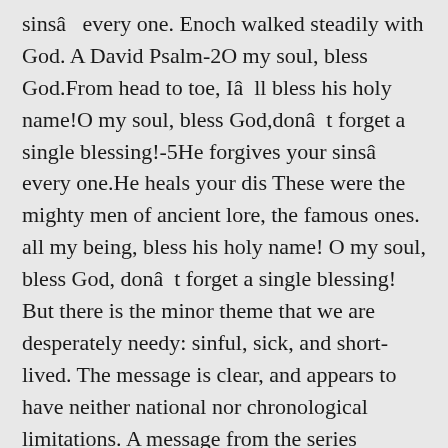sinsâevery one. Enoch walked steadily with God. A David Psalm-2O my soul, bless God.From head to toe, Iâll bless his holy name!O my soul, bless God,donât forget a single blessing!-5He forgives your sinsâevery one.He heals your dis These were the mighty men of ancient lore, the famous ones. all my being, bless his holy name! O my soul, bless God, donât forget a single blessing! But there is the minor theme that we are desperately needy: sinful, sick, and short-lived. The message is clear, and appears to have neither national nor chronological limitations. A message from the series "Psalms." 2 y Bless the L ord, O my soul, and z forget not all his benefits. 3 who a forgives all your iniquity, who